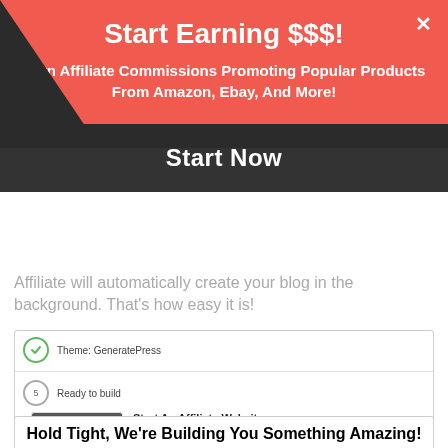Start Earning $$$!
Earn Affiliate Commissions Promoting Popular Products From Amazon, Ebay, And More!
Start Now
Affiliate will automatically create your blog in the background. That's how easy it is!
[Figure (screenshot): Screenshot of a website builder UI showing Theme: GeneratePress with a checkmark, step 5 Ready to build, a preview of Start An Affiliate Website, URL https://startaffiliatewebsite.siterubix.com, Theme: GeneratePress, Change theme and Build my website buttons]
Hold Tight, We're Building You Something Amazing!